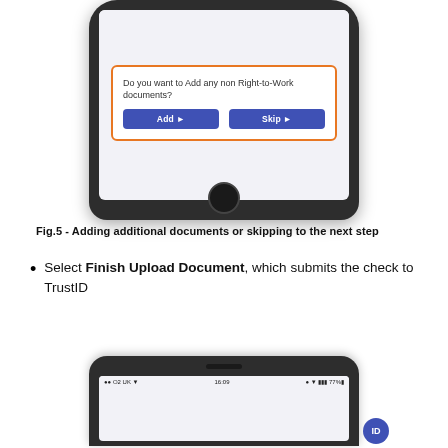[Figure (screenshot): Top half of a smartphone mockup showing a dialog box on screen with orange border asking 'Do you want to Add any non Right-to-Work documents?' with two blue buttons: 'Add ►' and 'Skip ►']
Fig.5 - Adding additional documents or skipping to the next step
Select Finish Upload Document, which submits the check to TrustID
[Figure (screenshot): Bottom portion of a smartphone mockup showing the top of a screen with a status bar indicating signal, time 16:09, battery at 77%]